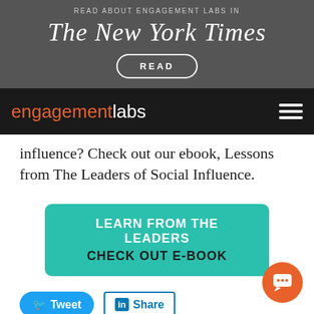[Figure (screenshot): Top dark banner with 'READ ABOUT ENGAGEMENT LABS IN' text, New York Times masthead logo, and a READ button with rounded border]
[Figure (screenshot): Navigation bar with engagementlabs logo in orange and white, and hamburger menu icon on right]
influence? Check out our ebook, Lessons from The Leaders of Social Influence.
[Figure (infographic): Teal CTA button with text: LEARN FROM THE LEADERS / CHECK OUT E-BOOK]
[Figure (screenshot): Social sharing buttons: Tweet (blue rounded) and Share (LinkedIn blue outline)]